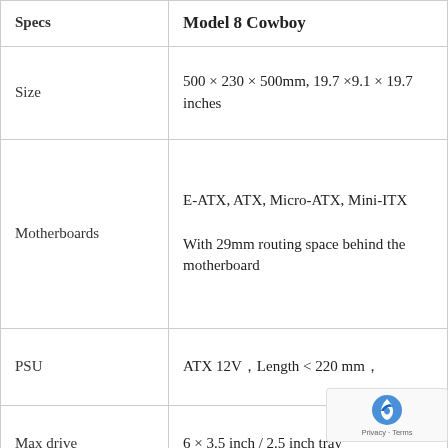| Specs | Model 8 Cowboy |
| --- | --- |
| Size | 500 × 230 × 500mm, 19.7 ×9.1 × 19.7 inches |
| Motherboards | E-ATX, ATX, Micro-ATX, Mini-ITX

With 29mm routing space behind the motherboard |
| PSU | ATX 12V，Length < 220 mm， |
| Max drive | 6 × 3.5 inch / 2.5 inch tray… |